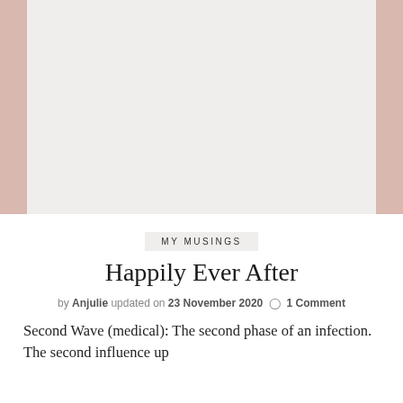[Figure (photo): Large image placeholder area with light gray/beige background, top portion of a blog post page]
MY MUSINGS
Happily Ever After
by Anjulie updated on 23 November 2020  ○ 1 Comment
Second Wave (medical): The second phase of an infection. The second influence up...